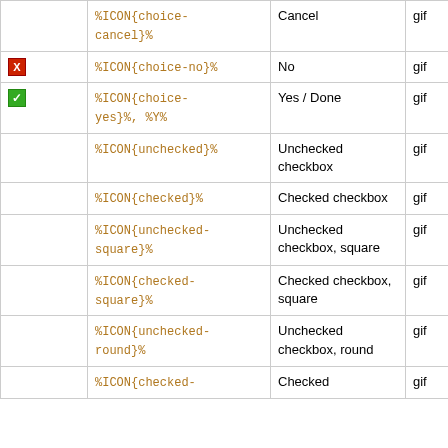| Icon | Code | Description | Format | Size |
| --- | --- | --- | --- | --- |
|  | %ICON{choice-cancel}% | Cancel | gif | 1 |
| [X] | %ICON{choice-no}% | No | gif | 1 |
| [✓] | %ICON{choice-yes}%, %Y% | Yes / Done | gif | 1 |
|  | %ICON{unchecked}% | Unchecked checkbox | gif | 1 |
|  | %ICON{checked}% | Checked checkbox | gif | 1 |
|  | %ICON{unchecked-square}% | Unchecked checkbox, square | gif | 1 |
|  | %ICON{checked-square}% | Checked checkbox, square | gif | 1 |
|  | %ICON{unchecked-round}% | Unchecked checkbox, round | gif | 1 |
|  | %ICON{checked- | Checked | gif | 1 |